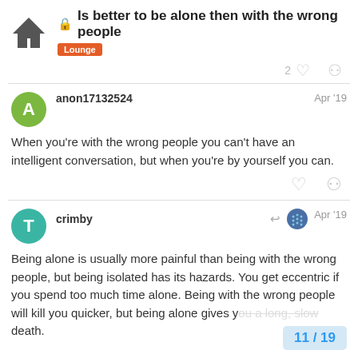Is better to be alone then with the wrong people — Lounge
When you're with the wrong people you can't have an intelligent conversation, but when you're by yourself you can.
crimby — Apr '19 — Being alone is usually more painful than being with the wrong people, but being isolated has its hazards. You get eccentric if you spend too much time alone. Being with the wrong people will kill you quicker, but being alone gives you a long, slow death.
11 / 19